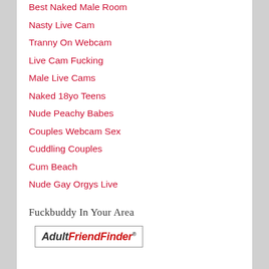Best Naked Male Room
Nasty Live Cam
Tranny On Webcam
Live Cam Fucking
Male Live Cams
Naked 18yo Teens
Nude Peachy Babes
Couples Webcam Sex
Cuddling Couples
Cum Beach
Nude Gay Orgys Live
The Best Porno Sites>>
Fuckbuddy In Your Area
[Figure (logo): AdultFriendFinder logo in a bordered box]